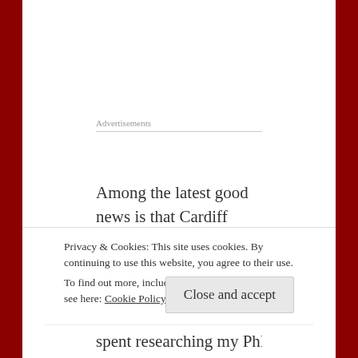Advertisements
Among the latest good news is that Cardiff Library now allows you to order books for pickup, or ask the librarians to selected a random bagful according to your preferences. I went for the latter and have a lovely jumble of thrillers and fantasies to browse through.
Privacy & Cookies: This site uses cookies. By continuing to use this website, you agree to their use.
To find out more, including how to control cookies, see here: Cookie Policy
spent researching my PhD at Chawton House, but I